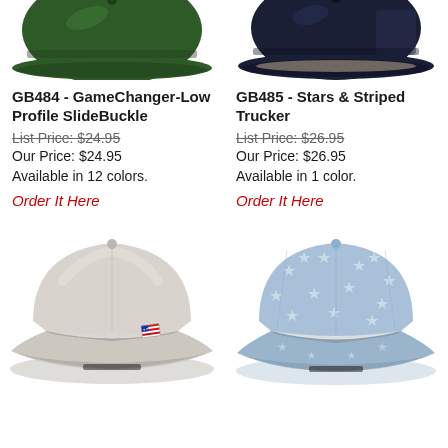[Figure (photo): Dark green low-profile baseball cap shown from front/top, cropped at bottom of page top]
[Figure (photo): Navy blue trucker cap shown from front/top, cropped at bottom of page top]
GB484 - GameChanger-Low Profile SlideBuckle
List Price: $24.95
Our Price: $24.95
Available in 12 colors.
Order It Here
GB485 - Stars & Striped Trucker
List Price: $26.95
Our Price: $26.95
Available in 1 color.
Order It Here
[Figure (photo): Light gray/beige baseball cap with small American flag embroidered on side, front view]
[Figure (photo): Light blue denim-style baseball cap with white stars pattern all over, front view]